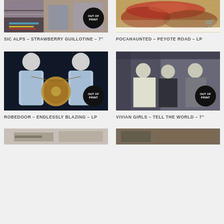[Figure (photo): Album cover for Sic Alps - Strawberry Guillotine 7-inch. Collage-style artwork with glitchy/abstract imagery. OUT OF PRINT badge.]
[Figure (photo): Album cover for Pocahaunted - Peyote Road LP. Colorful abstract/organic imagery. Shopping cart icon.]
SIC ALPS – STRAWBERRY GUILLOTINE – 7"
POCAHAUNTED – PEYOTE ROAD – LP
[Figure (photo): Album cover for Robedoor - Endlessly Blazing LP. Dark painting of robed figures with gong. OUT OF PRINT badge.]
[Figure (photo): Album cover for Vivian Girls - Tell the World 7-inch. Black and white photo of band members at a venue. OUT OF PRINT badge.]
ROBEDOOR – ENDLESSLY BLAZING – LP
VIVIAN GIRLS – TELL THE WORLD – 7"
[Figure (photo): Partial view of another album/product image at bottom left.]
[Figure (photo): Partial view of another album/product image at bottom right.]